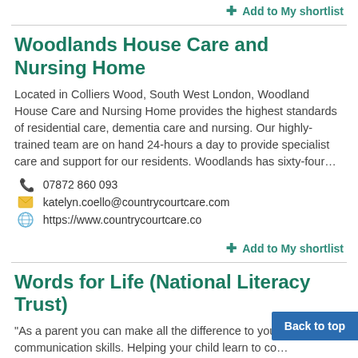+ Add to My shortlist
Woodlands House Care and Nursing Home
Located in Colliers Wood, South West London, Woodland House Care and Nursing Home provides the highest standards of residential care, dementia care and nursing. Our highly-trained team are on hand 24-hours a day to provide specialist care and support for our residents. Woodlands has sixty-four…
07872 860 093
katelyn.coello@countrycourtcare.com
https://www.countrycourtcare.co
+ Add to My shortlist
Words for Life (National Literacy Trust)
"As a parent you can make all the difference to your communication skills. Helping your child learn to co…